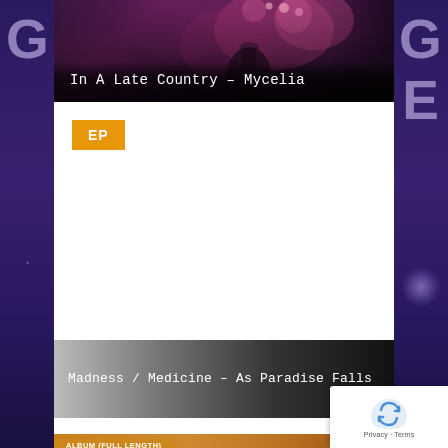[Figure (photo): Dark floral/mushroom themed image with pink and purple flowers/fungi, serving as background for the first music listing card]
In A Late Country – Mycelia
EP
[Figure (photo): Dark grey gradient image serving as background for Madness/Medicine listing]
Madness / Medicine – As Paradise Falls
ALBUM (FULL LENGTH)
[Figure (logo): Google reCAPTCHA badge with recycling arrow icon and Privacy - Terms text]